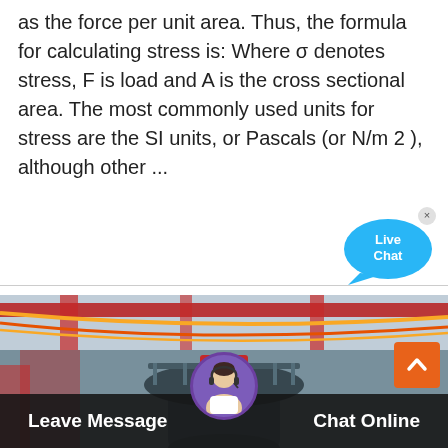as the force per unit area. Thus, the formula for calculating stress is: Where σ denotes stress, F is load and A is the cross sectional area. The most commonly used units for stress are the SI units, or Pascals (or N/m 2 ), although other ...
Read More
[Figure (other): Live Chat speech bubble icon with 'Live Chat' text]
[Figure (photo): Industrial cone crusher or heavy machinery photographed in a factory/industrial hall with red steel structural elements and yellow/orange cables visible]
Leave Message
Chat Online